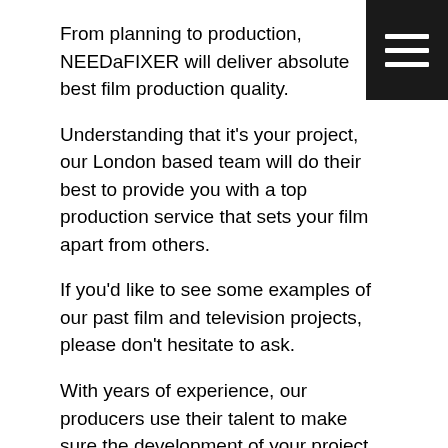[Figure (other): Dark navigation menu icon (hamburger) in top right corner]
From planning to production, NEEDaFIXER will deliver absolute best film production quality.
Understanding that it's your project, our London based team will do their best to provide you with a top production service that sets your film apart from others.
If you'd like to see some examples of our past film and television projects, please don't hesitate to ask.
With years of experience, our producers use their talent to make sure the development of your project goes smoothly.
Whether it's drama, comedy, or a bespoke branding video we have the right producer or director for your needs.
Do You Need Assistance?
NEEDaFIXER provides full service film and...